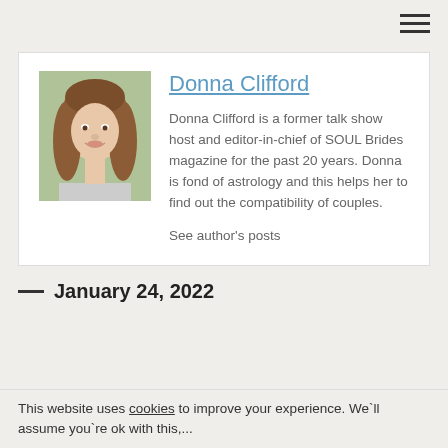[Figure (photo): Hamburger menu icon (three horizontal lines) in top right corner]
Donna Clifford
[Figure (photo): Portrait photo of Donna Clifford, a young woman with long brown hair, smiling, outdoors]
Donna Clifford is a former talk show host and editor-in-chief of SOUL Brides magazine for the past 20 years. Donna is fond of astrology and this helps her to find out the compatibility of couples.
See author's posts
January 24, 2022
This website uses cookies to improve your experience. We`ll assume you`re ok with this,...